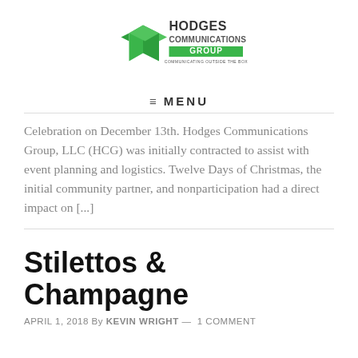[Figure (logo): Hodges Communications Group logo — green stylized cube/arrow icon with text 'HODGES COMMUNICATIONS GROUP' and tagline 'COMMUNICATING OUTSIDE THE BOX']
≡  MENU
Celebration on December 13th. Hodges Communications Group, LLC (HCG) was initially contracted to assist with event planning and logistics. Twelve Days of Christmas, the initial community partner, and nonparticipation had a direct impact on [...]
Stilettos & Champagne
APRIL 1, 2018 By KEVIN WRIGHT —  1 COMMENT